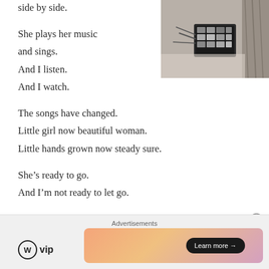[Figure (photo): Black and white photo of a woman with makeup palette and brushes]
side by side.

She plays her music and sings.
And I listen.
And I watch.

The songs have changed.
Little girl now beautiful woman.
Little hands grown now steady sure.

She's ready to go.
And I'm not ready to let go.
[Figure (logo): WordPress VIP logo with Learn more button and gradient advertisement banner]
Advertisements